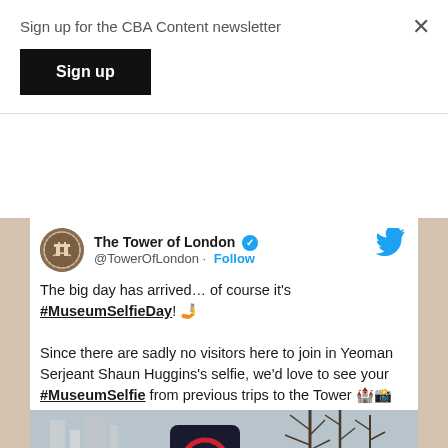Sign up for the CBA Content newsletter
Sign up
The Tower of London @TowerOfLondon · Follow
The big day has arrived… of course it's #MuseumSelfieDay! 🤳

Since there are sadly no visitors here to join in Yeoman Serjeant Shaun Huggins's selfie, we'd love to see your #MuseumSelfie from previous trips to the Tower 🏰📸
[Figure (photo): Photo showing a selfie camera or device in front of the Tower of London with bare trees in background]